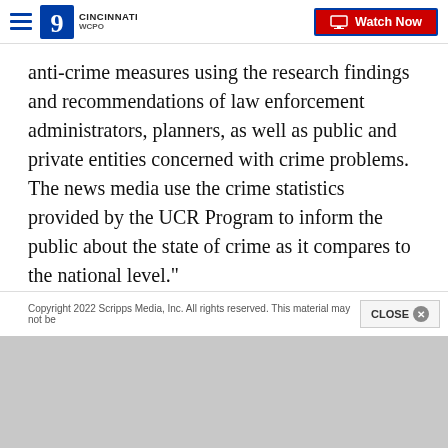WCPO 9 Cincinnati — Watch Now
anti-crime measures using the research findings and recommendations of law enforcement administrators, planners, as well as public and private entities concerned with crime problems. The news media use the crime statistics provided by the UCR Program to inform the public about the state of crime as it compares to the national level."
If you would like to see crime data from 2018 for your area, click here .
Copyright 2022 Scripps Media, Inc. All rights reserved. This material may not be